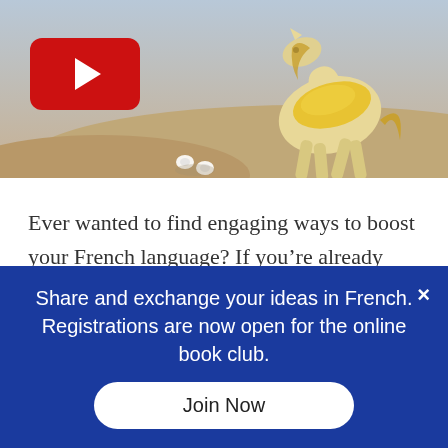[Figure (photo): A photo showing a camel or horse in golden/yellow adornments on a sandy beach or dune, with a red YouTube-style play button overlay in the upper left, and white wireless earbuds on the sand.]
Ever wanted to find engaging ways to boost your French language? If you’re already learning French, or you’re heading in that direction, you’ll need to sharpen your French listening skills.
Share and exchange your ideas in French. Registrations are now open for the online book club.
Join Now